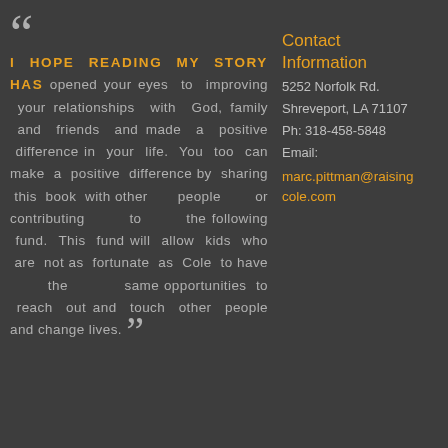“ I HOPE READING MY STORY HAS opened your eyes to improving your relationships with God, family and friends and made a positive difference in your life. You too can make a positive difference by sharing this book with other people or contributing to the following fund. This fund will allow kids who are not as fortunate as Cole to have the same opportunities to reach out and touch other people and change lives. ”
Contact Information
5252 Norfolk Rd. Shreveport, LA 71107 Ph: 318-458-5848 Email: marc.pittman@raisingcole.com